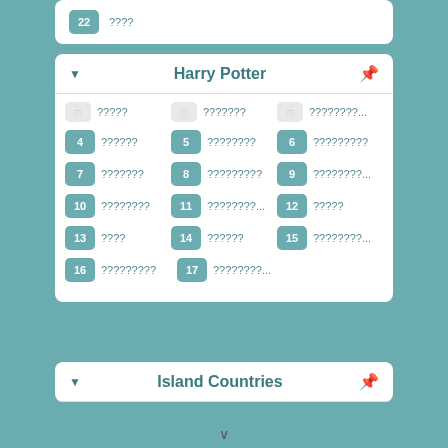22 ????
Harry Potter
□ ????? □ ??????? □ ????????...
4 ?????? 5 ???????? 6 ?????????
7 ??????? 8 ????????? 9 ????????...
10 ???????? 11 ????????... 12 ?????
13 ???? 14 ?????? 15 ????????...
16 ????????? 17 ????????...
Island Countries